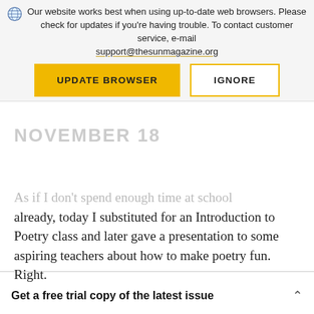[Figure (logo): The Sun magazine logo, top left, with globe icon]
Our website works best when using up-to-date web browsers. Please check for updates if you're having trouble. To contact customer service, e-mail support@thesunmagazine.org
NOVEMBER 18
UPDATE BROWSER
IGNORE
As if I don't spend enough time at school already, today I substituted for an Introduction to Poetry class and later gave a presentation to some aspiring teachers about how to make poetry fun. Right.
Get a free trial copy of the latest issue